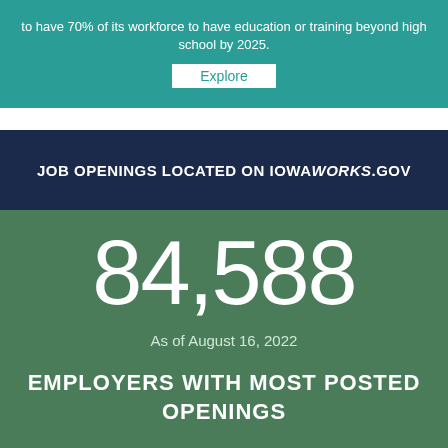to have 70% of its workforce to have education or training beyond high school by 2025.
Explore
JOB OPENINGS LOCATED ON IOWAWORKS.GOV
84,588
As of August 16, 2022
EMPLOYERS WITH MOST POSTED OPENINGS